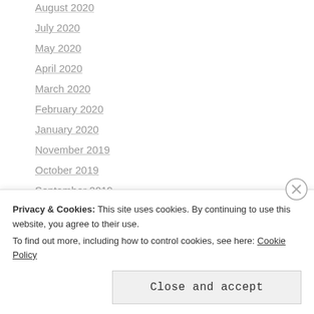August 2020
July 2020
May 2020
April 2020
March 2020
February 2020
January 2020
November 2019
October 2019
September 2019
Privacy & Cookies: This site uses cookies. By continuing to use this website, you agree to their use. To find out more, including how to control cookies, see here: Cookie Policy
Close and accept